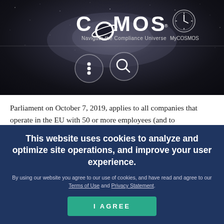[Figure (logo): COSMOS logo with tagline 'Navigate the Compliance Universe' and MyCOSMOS link on dark starfield background with navigation icons (menu and search)]
Parliament on October 7, 2019, applies to all companies that operate in the EU with 50 or more employees (and to municipalities that serve 10,000 or more people). Companies with 250 or more employees must comply with the directive beginning December 17, 2021. Businesses with between 50 and 249 workers have two additional years, with a deadline of December 17, 2023, for
This website uses cookies to analyze and optimize site operations, and improve your user experience. By using our website you agree to our use of cookies, and have read and agree to our Terms of Use and Privacy Statement.
I AGREE